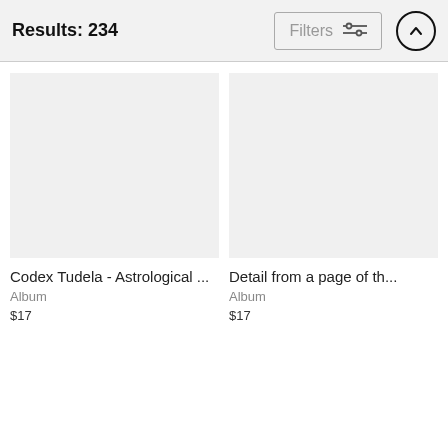Results: 234
[Figure (screenshot): Filters button with sliders icon]
[Figure (screenshot): Upload/scroll-to-top circular button with upward arrow]
[Figure (photo): Empty grey placeholder image for Codex Tudela - Astrological album]
Codex Tudela - Astrological ...
Album
$17
[Figure (photo): Empty grey placeholder image for Detail from a page of th... album]
Detail from a page of th...
Album
$17